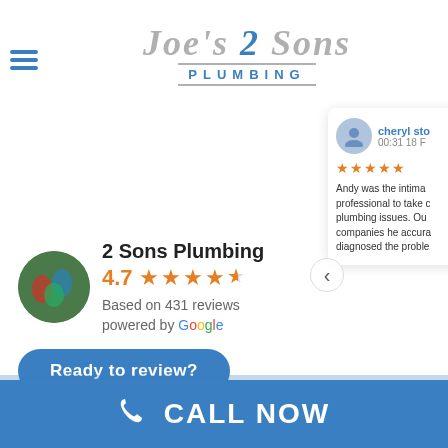[Figure (logo): Joe's 2 Sons Plumbing logo with hamburger menu icon on left]
[Figure (other): Google review widget showing 2 Sons Plumbing rated 4.7 stars based on 431 reviews, powered by Google, with Ready to review button]
[Figure (other): Review card from cheryl sto, time 00:31 18 F, 5 stars, text: Andy was the intima... professional to take c... plumbing issues. Ou... companies he accura... diagnosed the proble...]
CALL NOW